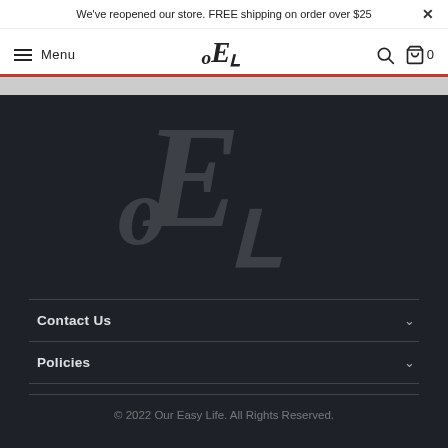We've reopened our store. FREE shipping on order over $25
[Figure (logo): OEL brand logo in navigation bar - stylized cursive letters O, E, L]
[Figure (logo): Large OEL watermark logo in dark footer background]
Contact Us
Policies
© 2022 Our Easy Life. All Rights Reserved.